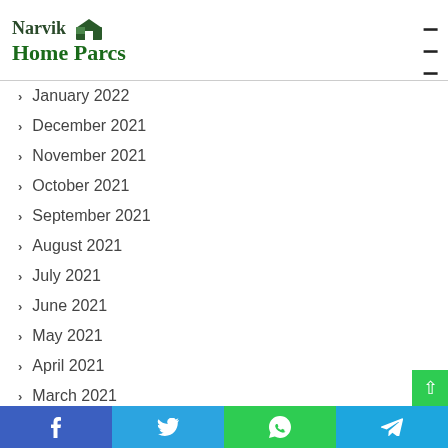Narvik Home Parcs
January 2022
December 2021
November 2021
October 2021
September 2021
August 2021
July 2021
June 2021
May 2021
April 2021
March 2021
f  t  (whatsapp)  (telegram)